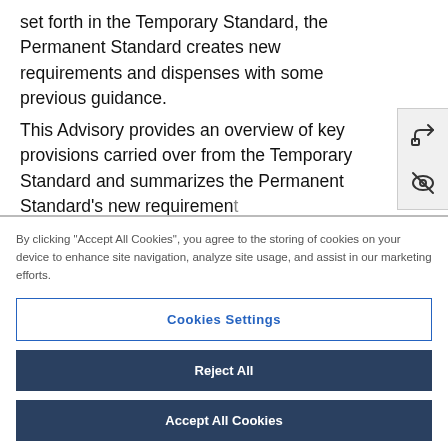set forth in the Temporary Standard, the Permanent Standard creates new requirements and dispenses with some previous guidance.
This Advisory provides an overview of key provisions carried over from the Temporary Standard and summarizes the Permanent Standard's new requirements.
[Figure (other): Sidebar UI icons: share icon and hide/eye-off icon on a light gray background panel on the right side of the page]
By clicking "Accept All Cookies", you agree to the storing of cookies on your device to enhance site navigation, analyze site usage, and assist in our marketing efforts.
Cookies Settings
Reject All
Accept All Cookies